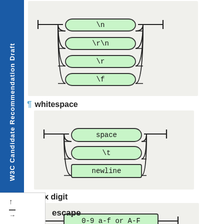[Figure (engineering-diagram): Railroad diagram showing newline alternatives: \n, \r\n, \r, \f]
¶ whitespace
[Figure (engineering-diagram): Railroad diagram showing whitespace alternatives: space, \t, newline]
¶ hex digit
[Figure (engineering-diagram): Railroad diagram showing hex digit: 0-9 a-f or A-F]
escape